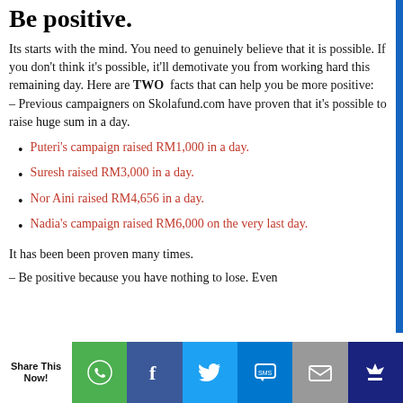Be positive.
Its starts with the mind. You need to genuinely believe that it is possible. If you don't think it's possible, it'll demotivate you from working hard this remaining day. Here are TWO  facts that can help you be more positive: – Previous campaigners on Skolafund.com have proven that it's possible to raise huge sum in a day.
Puteri's campaign raised RM1,000 in a day.
Suresh raised RM3,000 in a day.
Nor Aini raised RM4,656 in a day.
Nadia's campaign raised RM6,000 on the very last day.
It has been been proven many times.
– Be positive because you have nothing to lose. Even
Share This Now!